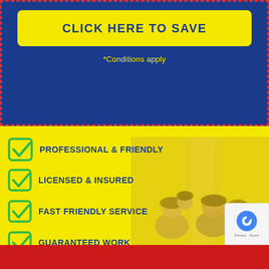CLICK HERE TO SAVE
*Conditions apply
PROFESSIONAL & FRIENDLY
LICENSED & INSURED
FAST FRIENDLY SERVICE
GUARANTEED WORK
[Figure (photo): Family photo with a woman, man, and two children smiling, overlaid on a yellow background with a water heater or tank visible]
[Figure (logo): Google reCAPTCHA badge with Privacy and Terms links]